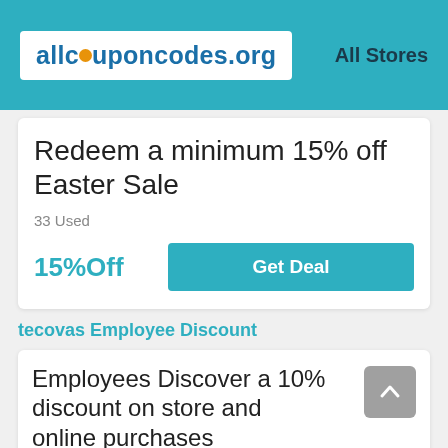[Figure (logo): allcouponcodes.org logo with teal text and orange circle replacing the 'o' in 'coupon', on white background]
All Stores
Redeem a minimum 15% off Easter Sale
33 Used
15%Off
Get Deal
tecovas Employee Discount
Employees Discover a 10% discount on store and online purchases
27 Used